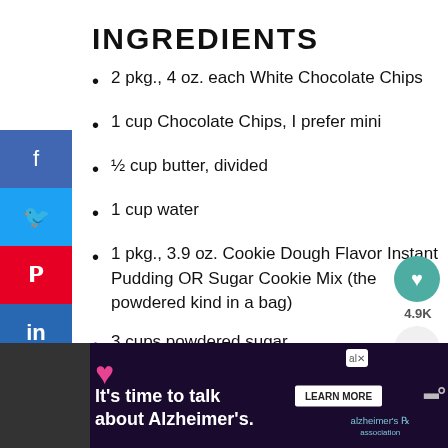INGREDIENTS
2 pkg., 4 oz. each White Chocolate Chips
1 cup Chocolate Chips, I prefer mini
½ cup butter, divided
1 cup water
1 pkg., 3.9 oz. Cookie Dough Flavor Instant Pudding OR Sugar Cookie Mix (the powdered kind in a bag)
3 cups powdered sugar
WHAT'S NEXT → Chicken Green Chili Stuffed...
4.9K
It's time to talk about Alzheimer's. LEARN MORE